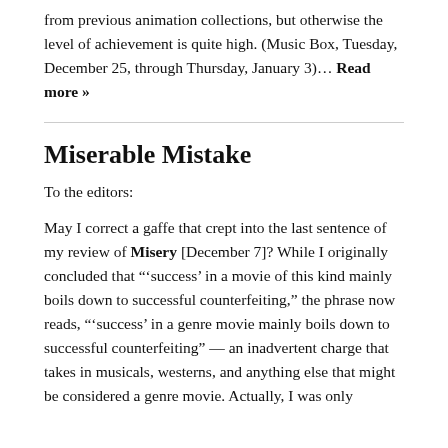from previous animation collections, but otherwise the level of achievement is quite high. (Music Box, Tuesday, December 25, through Thursday, January 3)… Read more »
Miserable Mistake
To the editors:
May I correct a gaffe that crept into the last sentence of my review of Misery [December 7]? While I originally concluded that "'success' in a movie of this kind mainly boils down to successful counterfeiting," the phrase now reads, "'success' in a genre movie mainly boils down to successful counterfeiting" — an inadvertent charge that takes in musicals, westerns, and anything else that might be considered a genre movie. Actually, I was only